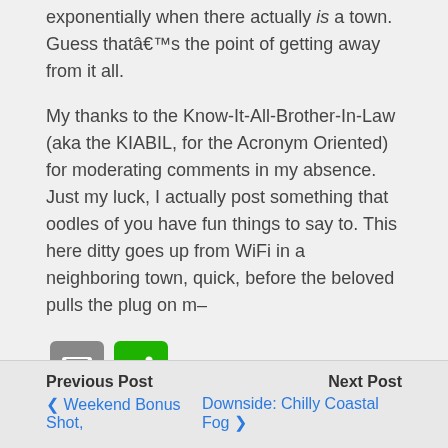exponentially when there actually is a town. Guess thatâ€™s the point of getting away from it all.
My thanks to the Know-It-All-Brother-In-Law (aka the KIABIL, for the Acronym Oriented) for moderating comments in my absence. Just my luck, I actually post something that oodles of you have fun things to say to. This here ditty goes up from WiFi in a neighboring town, quick, before the beloved pulls the plug on m–
[Figure (infographic): Email button (gray) and share button (green) icons]
Categories: Baba familias, Mostly a picture
Previous Post | Weekend Bonus Shot, | Next Post | Downside: Chilly Coastal Fog